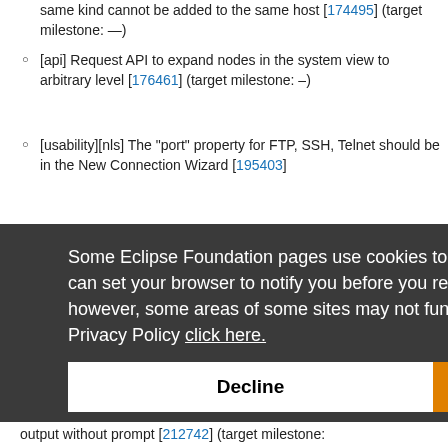same kind cannot be added to the same host [174495] (target milestone: —)
[api] Request API to expand nodes in the system view to arbitrary level [176461] (target milestone: –)
[usability][nls] The "port" property for FTP, SSH, Telnet should be in the New Connection Wizard [195403]
Some Eclipse Foundation pages use cookies to better serve you when you return to the site. You can set your browser to notify you before you receive a cookie or turn off cookies. If you do so, however, some areas of some sites may not function properly. To read Eclipse Foundation Privacy Policy click here.
Decline | Allow cookies
output without prompt [212742] (target milestone: